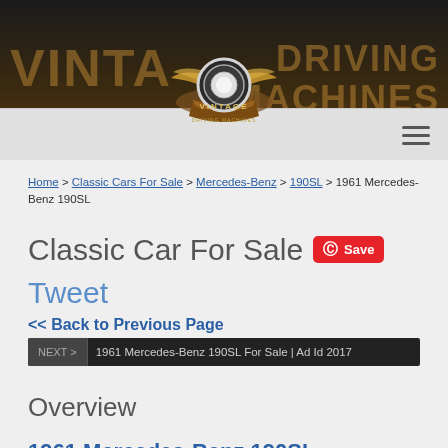[Figure (logo): Vintage Driving Machines website header banner with winged logo badge and text VINTAGE DRIVING MACHINES on dark brown background]
Home > Classic Cars For Sale > Mercedes-Benz > 190SL > 1961 Mercedes-Benz 190SL
Classic Car For Sale  Save  Tweet
<< Back to Previous Page
NEXT > 1961 Mercedes-Benz 190SL For Sale | Ad Id 2017
Overview
1961 Mercedes-Benz 190SL
Price: USD $74,500